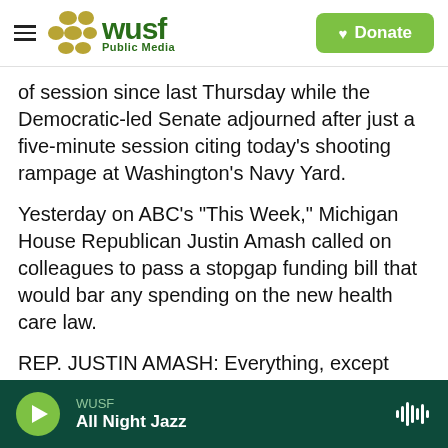[Figure (logo): WUSF Public Media logo with hamburger menu and Donate button]
of session since last Thursday while the Democratic-led Senate adjourned after just a five-minute session citing today's shooting rampage at Washington's Navy Yard.
Yesterday on ABC's "This Week," Michigan House Republican Justin Amash called on colleagues to pass a stopgap funding bill that would bar any spending on the new health care law.
REP. JUSTIN AMASH: Everything, except Obamacare, send it to the Senate, send the Republican version to the Senate. Let them
WUSF / All Night Jazz